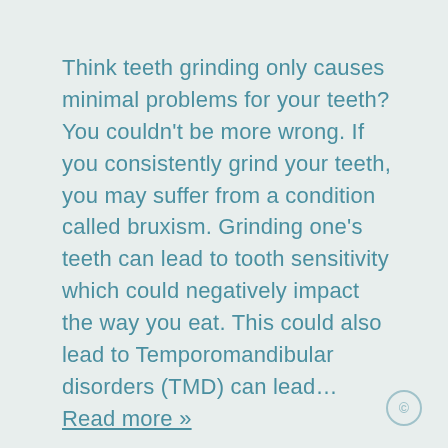Think teeth grinding only causes minimal problems for your teeth? You couldn't be more wrong. If you consistently grind your teeth, you may suffer from a condition called bruxism. Grinding one's teeth can lead to tooth sensitivity which could negatively impact the way you eat. This could also lead to Temporomandibular disorders (TMD) can lead… Read more »